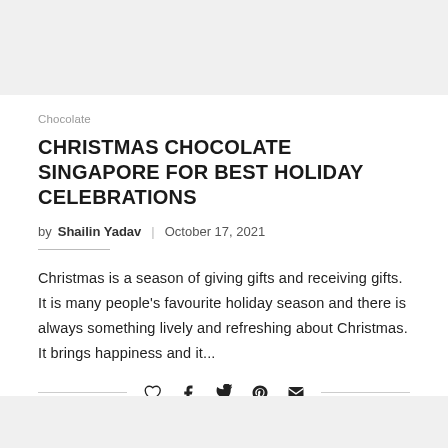[Figure (other): Gray banner image at top of page]
Chocolate
CHRISTMAS CHOCOLATE SINGAPORE FOR BEST HOLIDAY CELEBRATIONS
by Shailin Yadav | October 17, 2021
Christmas is a season of giving gifts and receiving gifts. It is many people's favourite holiday season and there is always something lively and refreshing about Christmas. It brings happiness and it...
[Figure (other): Social share icons: heart, facebook, twitter, pinterest, email]
[Figure (other): Gray banner image at bottom of page]